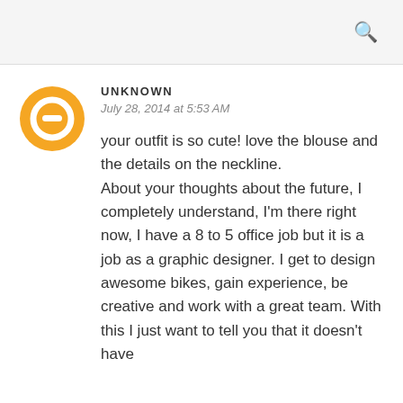UNKNOWN
July 28, 2014 at 5:53 AM
your outfit is so cute! love the blouse and the details on the neckline.
About your thoughts about the future, I completely understand, I'm there right now, I have a 8 to 5 office job but it is a job as a graphic designer. I get to design awesome bikes, gain experience, be creative and work with a great team. With this I just want to tell you that it doesn't have